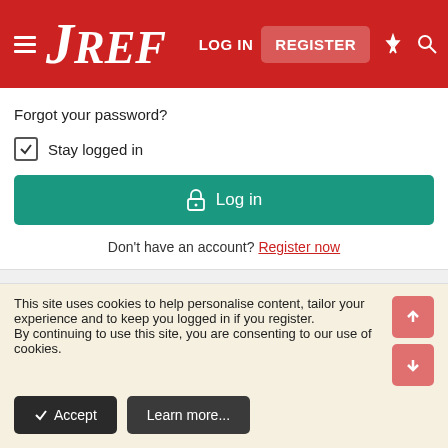JREF — LOG IN   REGISTER
Forgot your password?
Stay logged in
Log in
Don't have an account? Register now
ITEM INFORMATION
| Field | Value |
| --- | --- |
| Category: | Language |
| Added by: | Ashley Mason |
| Views: | 8,429 |
| Watchers: | 1 |
This site uses cookies to help personalise content, tailor your experience and to keep you logged in if you register. By continuing to use this site, you are consenting to our use of cookies.
Accept   Learn more...